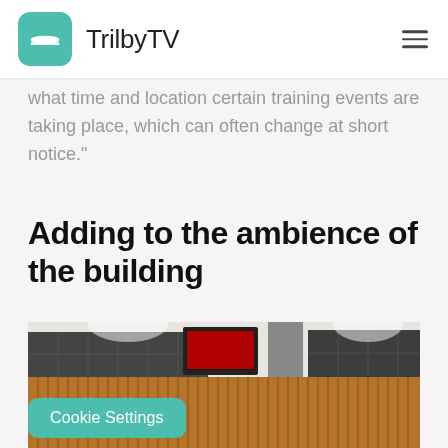TrilbyTV
what time and location certain training events are taking place, which can often change at short notice."
Adding to the ambience of the building
[Figure (photo): Interior photo of a building lobby or reception area with wooden slat paneling, lockers, and a TV screen mounted on the wall]
Cookie Settings